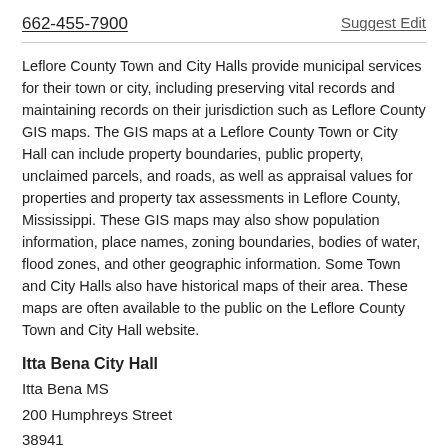662-455-7900
Suggest Edit
Leflore County Town and City Halls provide municipal services for their town or city, including preserving vital records and maintaining records on their jurisdiction such as Leflore County GIS maps. The GIS maps at a Leflore County Town or City Hall can include property boundaries, public property, unclaimed parcels, and roads, as well as appraisal values for properties and property tax assessments in Leflore County, Mississippi. These GIS maps may also show population information, place names, zoning boundaries, bodies of water, flood zones, and other geographic information. Some Town and City Halls also have historical maps of their area. These maps are often available to the public on the Leflore County Town and City Hall website.
Itta Bena City Hall
Itta Bena MS
200 Humphreys Street
38941
662-254-7231
Suggest Edit